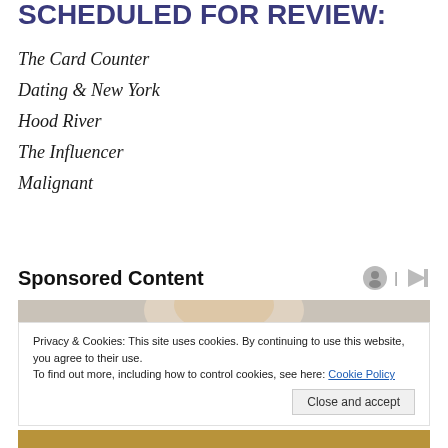SCHEDULED FOR REVIEW:
The Card Counter
Dating & New York
Hood River
The Influencer
Malignant
Sponsored Content
[Figure (photo): Woman with blonde hair looking down, partially visible photo crop]
Privacy & Cookies: This site uses cookies. By continuing to use this website, you agree to their use.
To find out more, including how to control cookies, see here: Cookie Policy
Close and accept